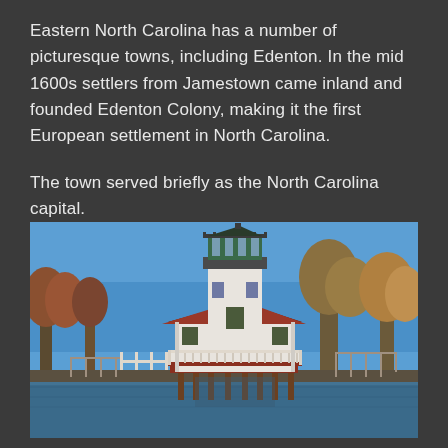Eastern North Carolina has a number of picturesque towns, including Edenton. In the mid 1600s settlers from Jamestown came inland and founded Edenton Colony, making it the first European settlement in North Carolina.
The town served briefly as the North Carolina capital.
[Figure (photo): A white lighthouse building with a dark lantern room at the top, elevated on wooden pilings over water, with a wraparound porch and red trim, surrounded by autumn trees under a clear blue sky.]